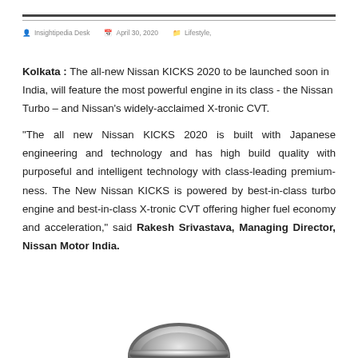Insightipedia Desk   April 30, 2020   Lifestyle,
Kolkata : The all-new Nissan KICKS 2020 to be launched soon in India, will feature the most powerful engine in its class - the Nissan Turbo – and Nissan's widely-acclaimed X-tronic CVT.
“The all new Nissan KICKS 2020 is built with Japanese engineering and technology and has high build quality with purposeful and intelligent technology with class-leading premium-ness. The New Nissan KICKS is powered by best-in-class turbo engine and best-in-class X-tronic CVT offering higher fuel economy and acceleration,” said Rakesh Srivastava, Managing Director, Nissan Motor India.
[Figure (logo): Nissan logo partially visible at the bottom of the page]